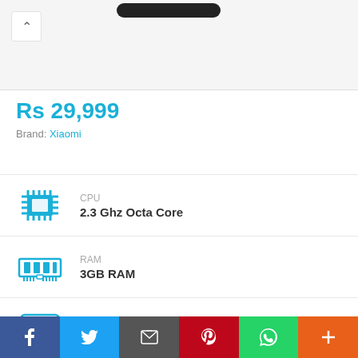[Figure (photo): Product image area with chevron/back button and partial view of a smartphone at top]
Rs 29,999
Brand: Xiaomi
CPU: 2.3 Ghz Octa Core
RAM: 3GB RAM
Storage: 64GB Built-in
Display: 6.53 Inches
f  Twitter  Email  Pinterest  WhatsApp  +